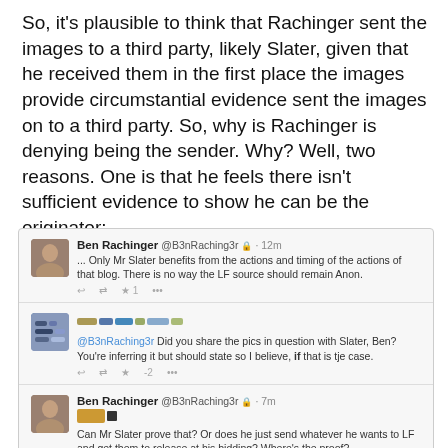So, it's plausible to think that Rachinger sent the images to a third party, likely Slater, given that he received them in the first place the images provide circumstantial evidence sent the images on to a third party. So, why is Rachinger is denying being the sender. Why? Well, two reasons. One is that he feels there isn't sufficient evidence to show he can be the originator:
[Figure (screenshot): Screenshot of Twitter conversation. First tweet by Ben Rachinger @B3nRaching3r (locked, 12m ago): '... Only Mr Slater benefits from the actions and timing of the actions of that blog. There is no way the LF source should remain Anon.' with 1 star. Second tweet by anonymous user replying @B3nRaching3r: 'Did you share the pics in question with Slater, Ben? You're inferring it but should state so I believe, if that is tje case.' Third tweet by Ben Rachinger @B3nRaching3r (locked, 7m ago): '[image] Can Mr Slater prove that? Or does he just send whatever he wants to LF and get them to release at his bidding? Where's the proof?' timestamped 8:41 PM - 10 Jun 2015 - Details]